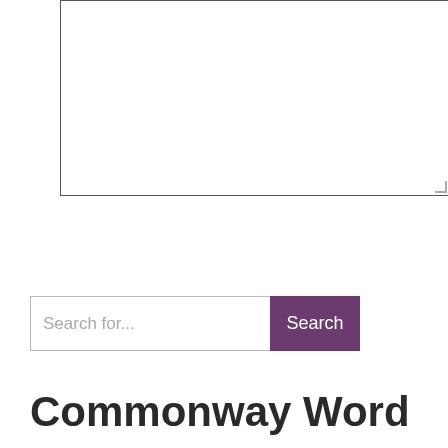[Figure (screenshot): Empty textarea input box with resize handle at bottom-right]
SEND COMMENT
Search for...
Search
Commonway Word